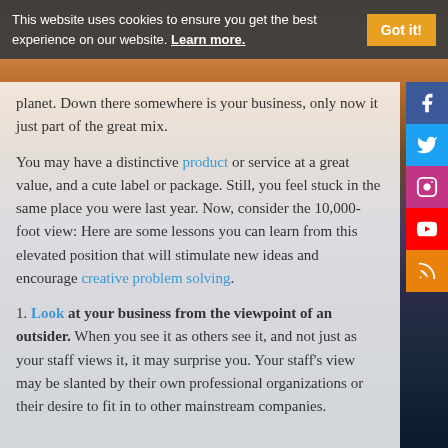This website uses cookies to ensure you get the best experience on our website. Learn more. Got it!
planet. Down there somewhere is your business, only now it just part of the great mix.
You may have a distinctive product or service at a great value, and a cute label or package. Still, you feel stuck in the same place you were last year. Now, consider the 10,000-foot view: Here are some lessons you can learn from this elevated position that will stimulate new ideas and encourage creative problem solving.
1. Look at your business from the viewpoint of an outsider. When you see it as others see it, and not just as your staff views it, it may surprise you. Your staff's view may be slanted by their own professional organizations or their desire to fit in to other mainstream companies.